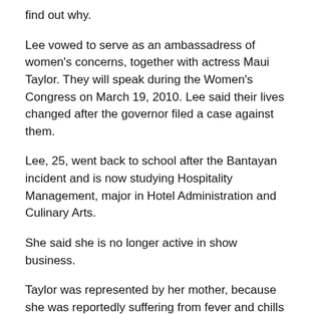find out why.
Lee vowed to serve as an ambassadress of women's concerns, together with actress Maui Taylor. They will speak during the Women's Congress on March 19, 2010. Lee said their lives changed after the governor filed a case against them.
Lee, 25, went back to school after the Bantayan incident and is now studying Hospitality Management, major in Hotel Administration and Culinary Arts.
She said she is no longer active in show business.
Taylor was represented by her mother, because she was reportedly suffering from fever and chills yesterday.
As her daughter's manager, the mother said she had not been informed on the nature of the Bantayan show.